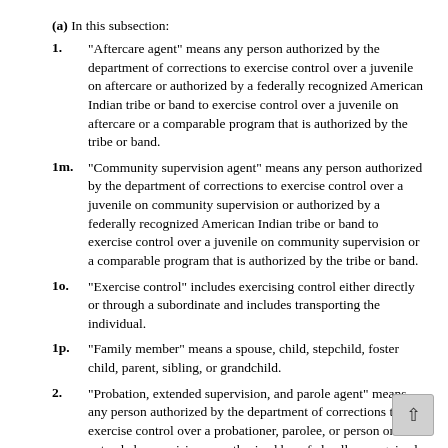(a) In this subsection:
1. “Aftercare agent” means any person authorized by the department of corrections to exercise control over a juvenile on aftercare or authorized by a federally recognized American Indian tribe or band to exercise control over a juvenile on aftercare or a comparable program that is authorized by the tribe or band.
1m. “Community supervision agent” means any person authorized by the department of corrections to exercise control over a juvenile on community supervision or authorized by a federally recognized American Indian tribe or band to exercise control over a juvenile on community supervision or a comparable program that is authorized by the tribe or band.
1o. “Exercise control” includes exercising control either directly or through a subordinate and includes transporting the individual.
1p. “Family member” means a spouse, child, stepchild, foster child, parent, sibling, or grandchild.
2. “Probation, extended supervision, and parole agent” means any person authorized by the department of corrections to exercise control over a probationer, parolee, or person on extended supervision or authorized by a federally recognized American Indian tribe or band to exercise control over a probationer, parolee, or person on